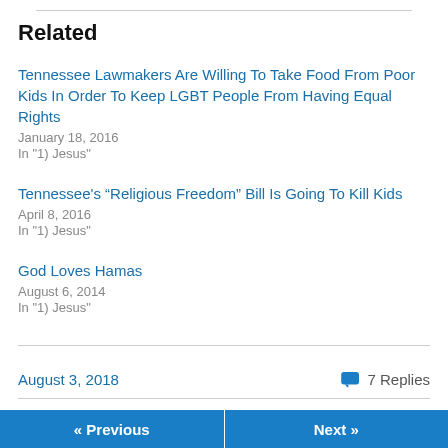Related
Tennessee Lawmakers Are Willing To Take Food From Poor Kids In Order To Keep LGBT People From Having Equal Rights
January 18, 2016
In "1) Jesus"
Tennessee's “Religious Freedom” Bill Is Going To Kill Kids
April 8, 2016
In "1) Jesus"
God Loves Hamas
August 6, 2014
In "1) Jesus"
August 3, 2018
7 Replies
« Previous
Next »